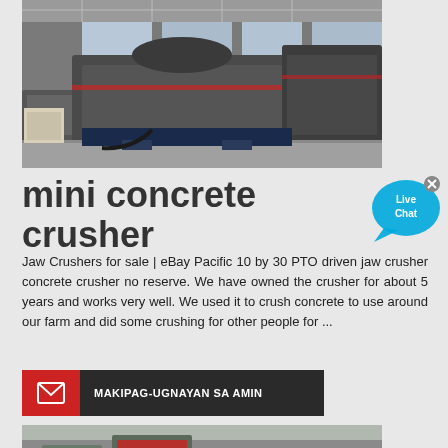[Figure (photo): Industrial crusher machinery in a warehouse/factory setting. Large grey metal crushing equipment on a factory floor with ceiling trusses visible above.]
mini concrete crusher
[Figure (other): Live Chat button — cyan speech bubble with 'Live Chat' text and an X close button.]
Jaw Crushers for sale | eBay Pacific 10 by 30 PTO driven jaw crusher concrete crusher no reserve. We have owned the crusher for about 5 years and works very well. We used it to crush concrete to use around our farm and did some crushing for other people for ...
[Figure (infographic): Contact bar with red section containing envelope icon and dark grey section with text MAKIPAG-UGNAYAN SA AMIN]
[Figure (photo): Industrial machinery/crusher equipment in a factory setting. Partially visible at bottom of page.]